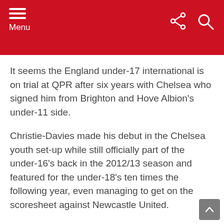Menu
It seems the England under-17 international is on trial at QPR after six years with Chelsea who signed him from Brighton and Hove Albion's under-11 side.
Christie-Davies made his debut in the Chelsea youth set-up while still officially part of the under-16's back in the 2012/13 season and featured for the under-18's ten times the following year, even managing to get on the scoresheet against Newcastle United.
Described as a box-to-box midfield player, he became a regular in the Blues' youth team and was a constant danger from his central position, eventually scoring 12